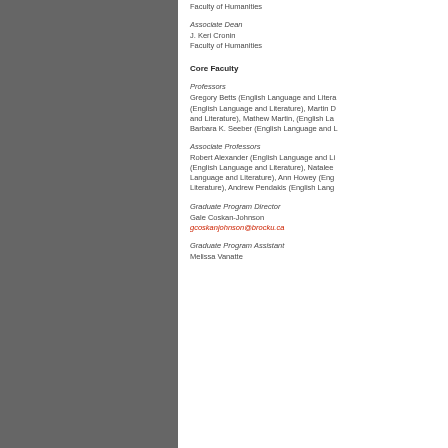Faculty of Humanities
Associate Dean
J. Keri Cronin
Faculty of Humanities
Core Faculty
Professors
Gregory Betts (English Language and Literature), (English Language and Literature), Martin D and Literature), Mathew Martin, (English La Barbara K. Seeber (English Language and Literature)
Associate Professors
Robert Alexander (English Language and Li (English Language and Literature), Natalee Language and Literature), Ann Howey (Eng Literature), Andrew Pendakis (English Lang
Graduate Program Director
Gale Coskan-Johnson
gcoskanjohnson@brocku.ca
Graduate Program Assistant
Melissa Vanatte